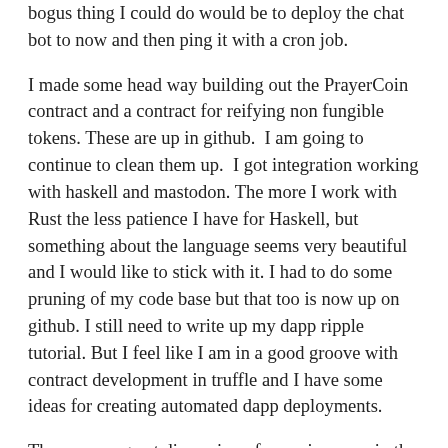bogus thing I could do would be to deploy the chat bot to now and then ping it with a cron job.
I made some head way building out the PrayerCoin contract and a contract for reifying non fungible tokens. These are up in github.  I am going to continue to clean them up.  I got integration working with haskell and mastodon. The more I work with Rust the less patience I have for Haskell, but something about the language seems very beautiful and I would like to stick with it. I had to do some pruning of my code base but that too is now up on github. I still need to write up my dapp ripple tutorial. But I feel like I am in a good groove with contract development in truffle and I have some ideas for creating automated dapp deployments.
There was a great discussion of consciousness in the